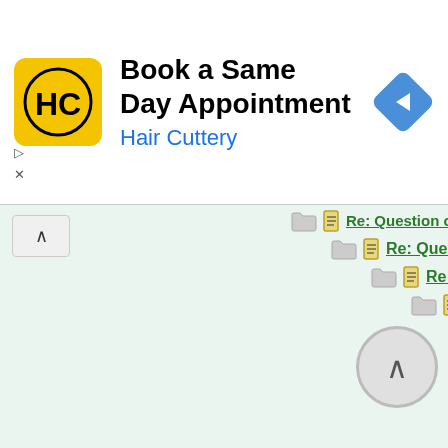[Figure (screenshot): Advertisement banner for Hair Cuttery: 'Book a Same Day Appointment' with yellow HC logo and blue navigation arrow icon]
[Figure (screenshot): Forum thread tree showing nested replies all titled 'Re: Question of the day!' with folder and document icons, progressively indented]